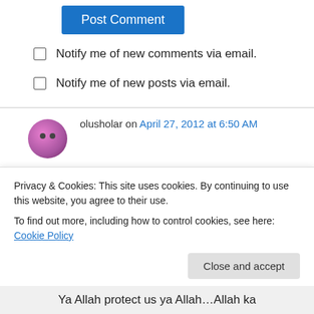[Figure (other): Blue 'Post Comment' button]
Notify me of new comments via email.
Notify me of new posts via email.
olusholar on April 27, 2012 at 6:50 AM
Omo nawa o dis one too badt o
★ Like
↳ Reply
Privacy & Cookies: This site uses cookies. By continuing to use this website, you agree to their use.
To find out more, including how to control cookies, see here: Cookie Policy
Close and accept
Ya Allah protect us ya Allah…Allah ka